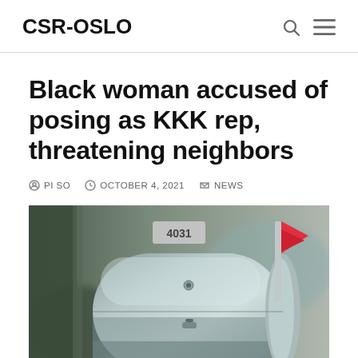CSR-OSLO
Black woman accused of posing as KKK rep, threatening neighbors
PI SO  OCTOBER 4, 2021  NEWS
[Figure (photo): Close-up photo of a metallic mailbox with a red flag raised, blurred background]